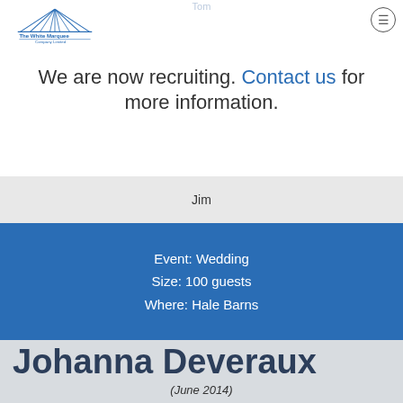[Figure (logo): The White Marquee Company Limited logo with blue tent/marquee graphic]
It was very sweet of you. We and our guests were very impressed with the level floor in the marquee on a rather sloping lawn.
We are now recruiting. Contact us for more information.
Jim
Event: Wedding
Size: 100 guests
Where: Hale Barns
Johanna Deveraux
(June 2014)
Thank you for your good and excellent services and cooperation, and also for the prompt removal of all your